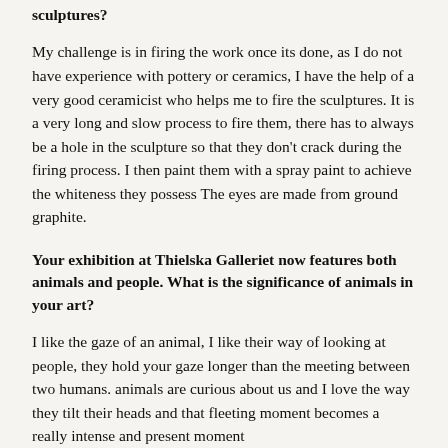sculptures?
My challenge is in firing the work once its done, as I do not have experience with pottery or ceramics, I have the help of a very good ceramicist who helps me to fire the sculptures. It is a very long and slow process to fire them, there has to always be a hole in the sculpture so that they don't crack during the firing process. I then paint them with a spray paint to achieve the whiteness they possess The eyes are made from ground graphite.
Your exhibition at Thielska Galleriet now features both animals and people. What is the significance of animals in your art?
I like the gaze of an animal, I like their way of looking at people, they hold your gaze longer than the meeting between two humans. animals are curious about us and I love the way they tilt their heads and that fleeting moment becomes a really intense and present moment